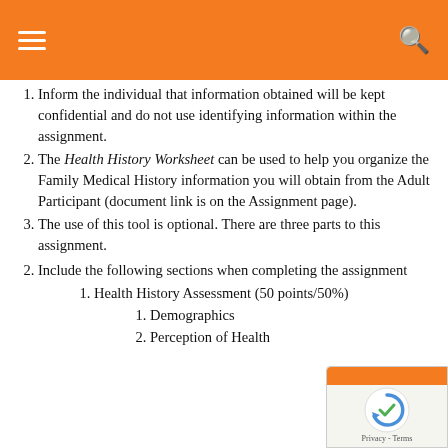Inform the individual that information obtained will be kept confidential and do not use identifying information within the assignment.
The Health History Worksheet can be used to help you organize the Family Medical History information you will obtain from the Adult Participant (document link is on the Assignment page).
The use of this tool is optional. There are three parts to this assignment.
Include the following sections when completing the assignment
Health History Assessment (50 points/50%)
Demographics
Perception of Health